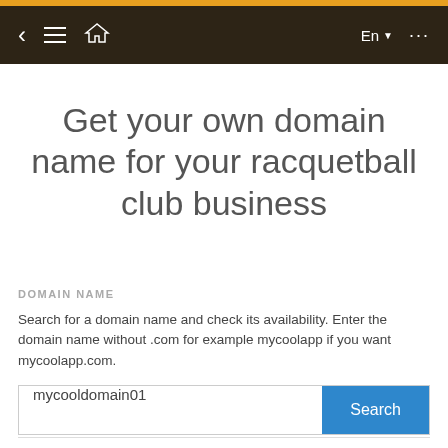[Figure (screenshot): Mobile app navigation bar with dark brown background, showing back chevron, hamburger menu, home icon on left, and 'En' language selector with dropdown arrow and ellipsis menu on right]
Get your own domain name for your racquetball club business
DOMAIN NAME
Search for a domain name and check its availability. Enter the domain name without .com for example mycoolapp if you want mycoolapp.com.
[Figure (screenshot): Search input field with text 'mycooldomain01' and a blue Search button]